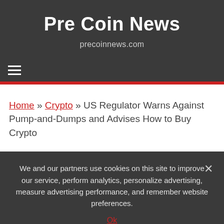Pre Coin News
precoinnews.com
≡
Home » Crypto » US Regulator Warns Against Pump-and-Dumps and Advises How to Buy Crypto
We and our partners use cookies on this site to improve our service, perform analytics, personalize advertising, measure advertising performance, and remember website preferences.
Ok